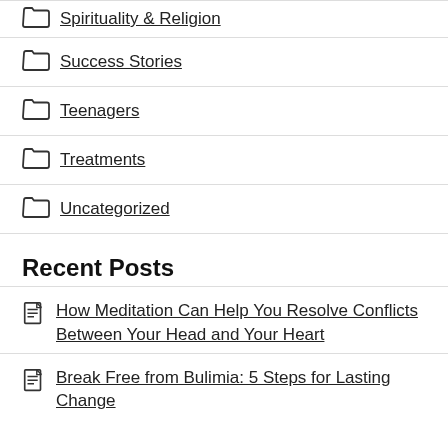Spirituality & Religion
Success Stories
Teenagers
Treatments
Uncategorized
Recent Posts
How Meditation Can Help You Resolve Conflicts Between Your Head and Your Heart
Break Free from Bulimia: 5 Steps for Lasting Change